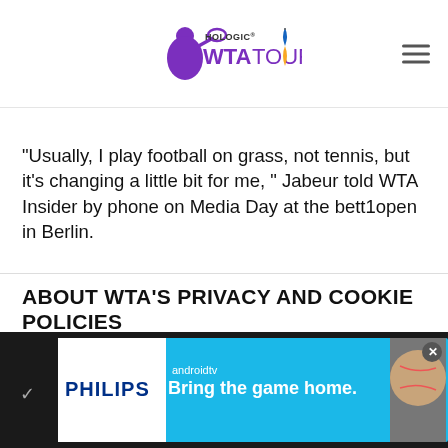Hologic WTA Tour
"Usually, I play football on grass, not tennis, but it's changing a little bit for me, " Jabeur told WTA Insider by phone on Media Day at the bett1open in Berlin.
ABOUT WTA'S PRIVACY AND COOKIE POLICIES
We use cookies to provide our services and for analytics and marketing. To find out more about our use of cookies and how you can disable them, please see our Privacy Policy. By continuing to browse our website, you agree to our use of cookies. Click here to find out more info.
[Figure (screenshot): Philips Android TV advertisement banner: 'Bring the game home.' with Walmart branding and a baseball image on the right side.]